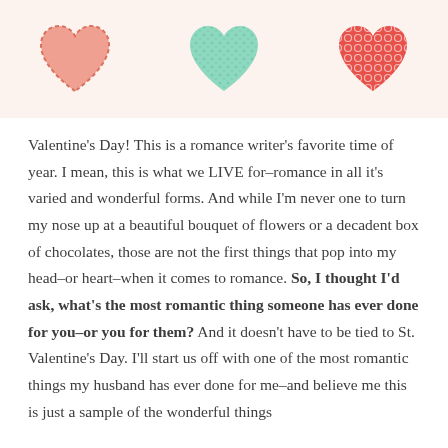[Figure (illustration): Three decorative hearts in a row on a peach/cream background: a pink outlined/stitched heart on the left, a mint green lacy/textured heart in the center, and a coral red patterned heart on the right.]
Valentine's Day! This is a romance writer's favorite time of year. I mean, this is what we LIVE for–romance in all it's varied and wonderful forms. And while I'm never one to turn my nose up at a beautiful bouquet of flowers or a decadent box of chocolates, those are not the first things that pop into my head–or heart–when it comes to romance. So, I thought I'd ask, what's the most romantic thing someone has ever done for you–or you for them? And it doesn't have to be tied to St. Valentine's Day. I'll start us off with one of the most romantic things my husband has ever done for me–and believe me this is just a sample of the wonderful things